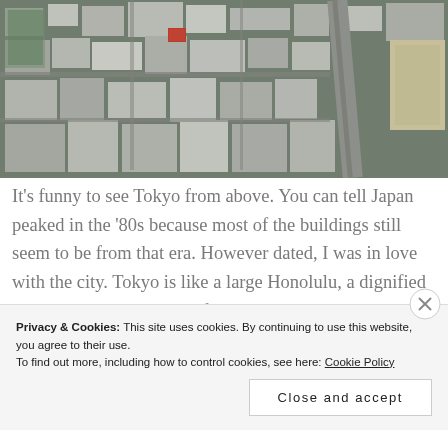[Figure (photo): Aerial view of Tokyo cityscape showing dense urban buildings, streets, and infrastructure from above]
It's funny to see Tokyo from above. You can tell Japan peaked in the '80s because most of the buildings still seem to be from that era. However dated, I was in love with the city. Tokyo is like a large Honolulu, a dignified New York, and snippets of Paris, all in one. I could easily
Privacy & Cookies: This site uses cookies. By continuing to use this website, you agree to their use.
To find out more, including how to control cookies, see here: Cookie Policy
Close and accept